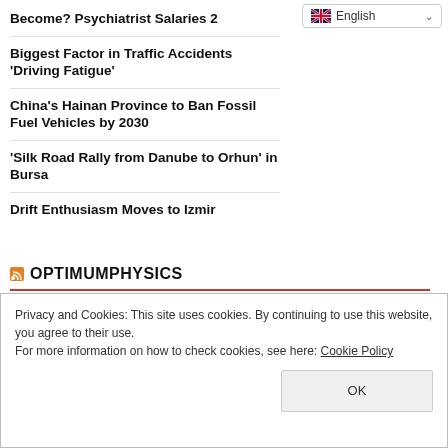Become? Psychiatrist Salaries 2
[Figure (screenshot): Language selector dropdown showing English with flag icon and chevron]
Biggest Factor in Traffic Accidents 'Driving Fatigue'
China's Hainan Province to Ban Fossil Fuel Vehicles by 2030
'Silk Road Rally from Danube to Orhun' in Bursa
Drift Enthusiasm Moves to Izmir
OPTIMUMPHYSICS
Manual Transmission Makes History
How Do We Know That Time Exists?
Privacy and Cookies: This site uses cookies. By continuing to use this website, you agree to their use.
For more information on how to check cookies, see here: Cookie Policy
OK